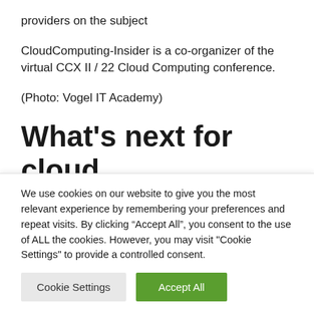providers on the subject
CloudComputing-Insider is a co-organizer of the virtual CCX II / 22 Cloud Computing conference.
(Photo: Vogel IT Academy)
What’s next for cloud
We use cookies on our website to give you the most relevant experience by remembering your preferences and repeat visits. By clicking “Accept All”, you consent to the use of ALL the cookies. However, you may visit "Cookie Settings" to provide a controlled consent.